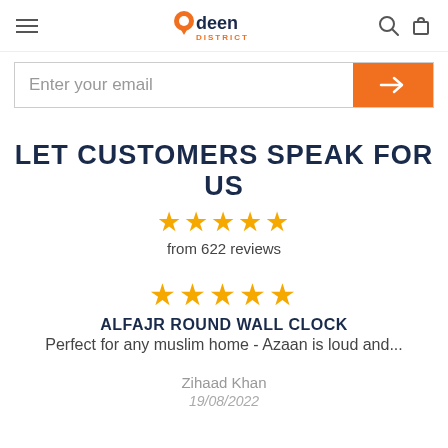Deen District — navigation header with hamburger menu, logo, search and cart icons
Enter your email
LET CUSTOMERS SPEAK FOR US
★★★★★ from 622 reviews
★★★★★ ALFAJR ROUND WALL CLOCK Perfect for any muslim home - Azaan is loud and...
Zihaad Khan 19/08/2022